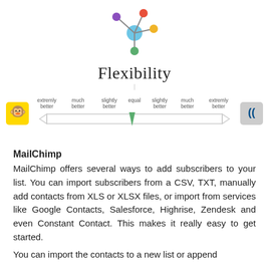[Figure (illustration): Network/hub icon with colored dots connected to a central blue circle, on white background]
Flexibility
[Figure (infographic): Comparison scale/slider showing MailChimp logo on the left and Constant Contact logo on the right, with labels: extremly better, much better, slightly better, equal, slightly better, much better, extremly better. A green arrow points toward equal/slightly left of center.]
MailChimp
MailChimp offers several ways to add subscribers to your list. You can import subscribers from a CSV, TXT, manually add contacts from XLS or XLSX files, or import from services like Google Contacts, Salesforce, Highrise, Zendesk and even Constant Contact. This makes it really easy to get started.
You can import the contacts to a new list or append